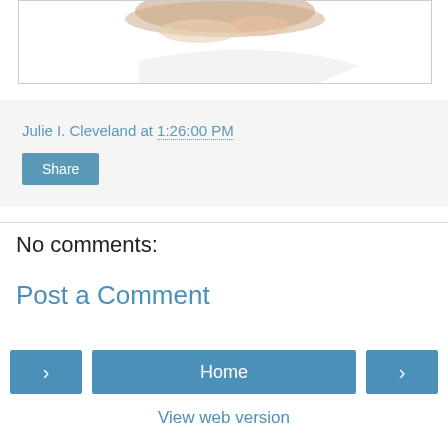[Figure (photo): Partial image of food or product, cropped at top, shown inside a white bordered card]
Julie I. Cleveland at 1:26:00 PM
Share
No comments:
Post a Comment
‹
Home
›
View web version